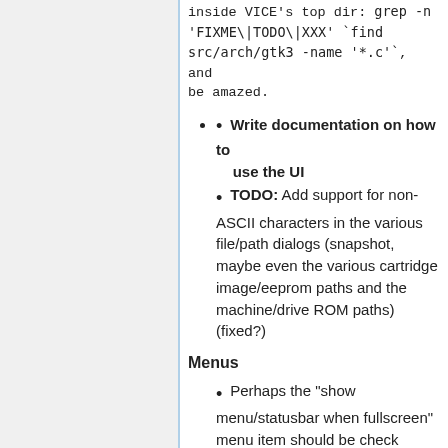inside VICE's top dir: grep -n 'FIXME\|TODO\|XXX' `find src/arch/gtk3 -name '*.c'`, and be amazed.
Write documentation on how to use the UI
TODO: Add support for non-ASCII characters in the various file/path dialogs (snapshot, maybe even the various cartridge image/eeprom paths and the machine/drive ROM paths) (fixed?)
Menus
Perhaps the "show menu/statusbar when fullscreen" menu item should be check button?